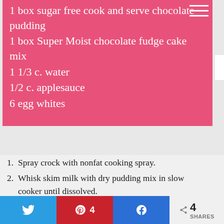1 box sugar free cook and serve chocolate pudding
1 box Super Moist chocolate fudge cake mix
1 1/3 c. water
1/2 c. applesauce
6 egg whites
1. Spray crock with nonfat cooking spray.
2. Whisk skim milk with dry pudding mix in slow cooker until dissolved.
3. In a medium bowl, mix dry cake mix, water,